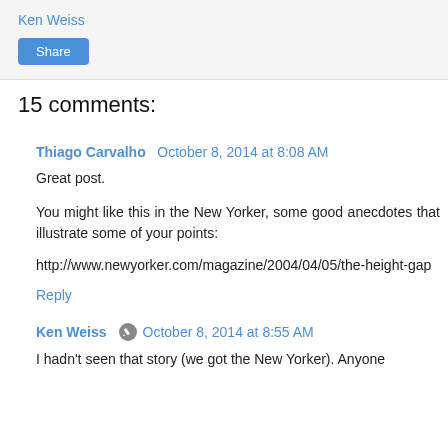Ken Weiss
Share
15 comments:
Thiago Carvalho  October 8, 2014 at 8:08 AM
Great post.
You might like this in the New Yorker, some good anecdotes that illustrate some of your points:
http://www.newyorker.com/magazine/2004/04/05/the-height-gap
Reply
Ken Weiss  October 8, 2014 at 8:55 AM
I hadn't seen that story (we got the New Yorker). Anyone